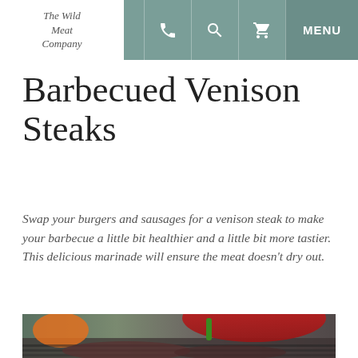The Wild Meat Company | MENU
Barbecued Venison Steaks
Swap your burgers and sausages for a venison steak to make your barbecue a little bit healthier and a little bit more tastier. This delicious marinade will ensure the meat doesn't dry out.
[Figure (photo): Close-up photo of red peppers and venison steaks on a barbecue grill, blurred background]